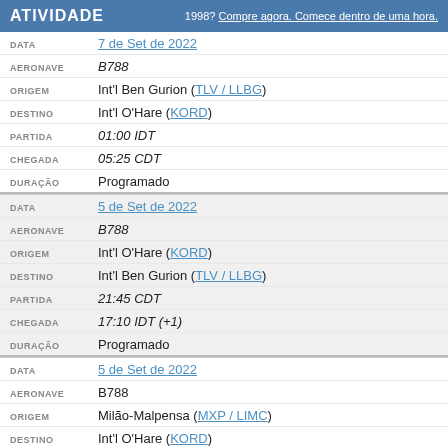ATIVIDADE   1998? Compre agora. Comece dentro de uma hora.
| DATA | 7 de Set de 2022 |
| AERONAVE | B788 |
| ORIGEM | Int'l Ben Gurion (TLV / LLBG) |
| DESTINO | Int'l O'Hare (KORD) |
| PARTIDA | 01:00 IDT |
| CHEGADA | 05:25 CDT |
| DURAÇÃO | Programado |
| DATA | 5 de Set de 2022 |
| AERONAVE | B788 |
| ORIGEM | Int'l O'Hare (KORD) |
| DESTINO | Int'l Ben Gurion (TLV / LLBG) |
| PARTIDA | 21:45 CDT |
| CHEGADA | 17:10 IDT (+1) |
| DURAÇÃO | Programado |
| DATA | 5 de Set de 2022 |
| AERONAVE | B788 |
| ORIGEM | Milão-Malpensa (MXP / LIMC) |
| DESTINO | Int'l O'Hare (KORD) |
| PARTIDA | 16:20 CEST |